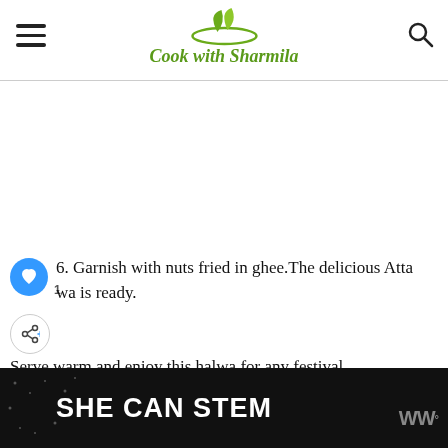Cook with Sharmila
6. Garnish with nuts fried in ghee.The delicious Atta wa is ready.
Serve warm and enjoy this halwa for any festival.
WHAT'S NEXT → Sweet Potato Paratha|...
[Figure (other): SHE CAN STEM advertisement banner with dark background]
[Figure (logo): WW logo in grey on the right of the ad banner]